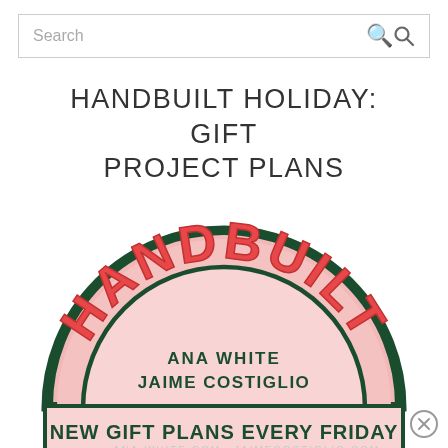Search
HANDBUILT HOLIDAY: GIFT PROJECT PLANS
[Figure (logo): Handbuilt holiday badge/logo: a semicircle with dark green border and pink background. The arc text reads 'HANDBUILT' in large red/pink letters. Inside the semicircle: 'ANA WHITE' and 'JAIME COSTIGLIO' in dark green. Below the semicircle is a rectangular banner reading 'NEW GIFT PLANS EVERY FRIDAY' in dark green bold text on a light pink background. At the bottom: 'ANA-WHITE.COM' and 'JAIMECOSTIGLIO.COM' in light gray.]